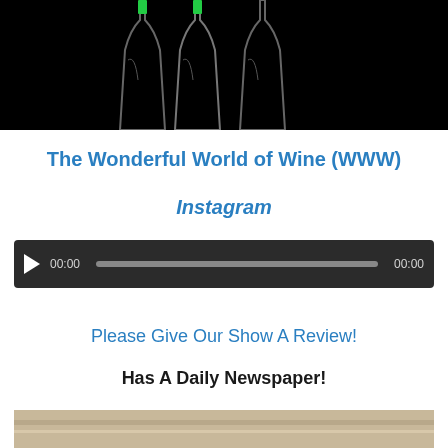[Figure (photo): Dark/black background with silhouettes of wine bottles; two green capsule tops visible at upper portion]
The Wonderful World of Wine (WWW)
Instagram
[Figure (screenshot): Audio player control bar with play button, time display 00:00, progress bar, and end time 00:00 on dark background]
Please Give Our Show A Review!
Has A Daily Newspaper!
[Figure (photo): Partial view of wooden surface, light brown/beige color, cropped at bottom of page]